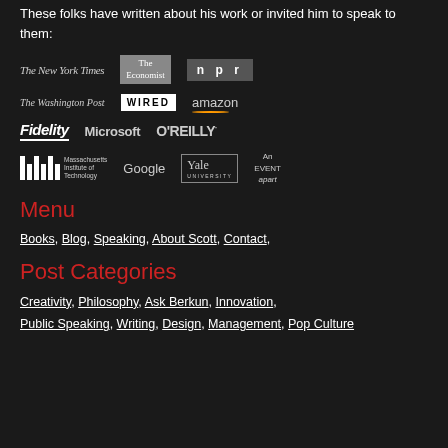These folks have written about his work or invited him to speak to them:
[Figure (logo): Row of media/organization logos: The New York Times, The Economist, NPR]
[Figure (logo): Row of media/organization logos: The Washington Post, WIRED, amazon]
[Figure (logo): Row of organization logos: Fidelity, Microsoft, O'REILLY]
[Figure (logo): Row of organization logos: MIT, Google, Yale University, An Event Apart]
Menu
Books, Blog, Speaking, About Scott, Contact,
Post Categories
Creativity, Philosophy, Ask Berkun, Innovation, Public Speaking, Writing, Design, Management, Pop Culture